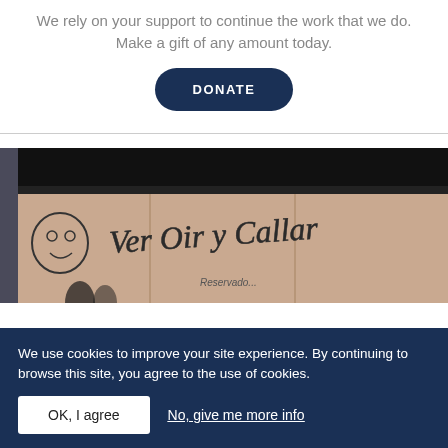We rely on your support to continue the work that we do. Make a gift of any amount today.
DONATE
[Figure (photo): Photo of a wall covered in graffiti reading 'Ver Oir y Callar' with a stylized face, taken in a dark indoor/underpass space.]
We use cookies to improve your site experience. By continuing to browse this site, you agree to the use of cookies.
OK, I agree
No, give me more info